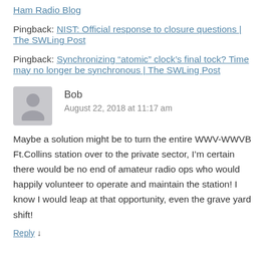Ham Radio Blog
Pingback: NIST: Official response to closure questions | The SWLing Post
Pingback: Synchronizing “atomic” clock’s final tock? Time may no longer be synchronous | The SWLing Post
Bob
August 22, 2018 at 11:17 am
Maybe a solution might be to turn the entire WWV-WWVB Ft.Collins station over to the private sector, I’m certain there would be no end of amateur radio ops who would happily volunteer to operate and maintain the station! I know I would leap at that opportunity, even the grave yard shift!
Reply ↓